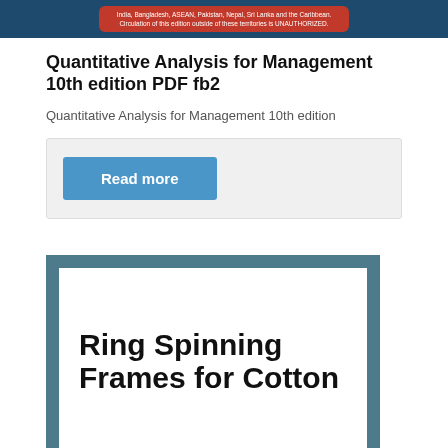[Figure (screenshot): Dark blue banner with a red pill-shaped notice containing small white text about unauthorized copying.]
Quantitative Analysis for Management 10th edition PDF fb2
Quantitative Analysis for Management 10th edition
[Figure (screenshot): Light grey action box containing a blue 'Read more' button.]
[Figure (screenshot): Book cover image showing 'Ring Spinning Frames for Cotton' with a teal/slate border frame on white background.]